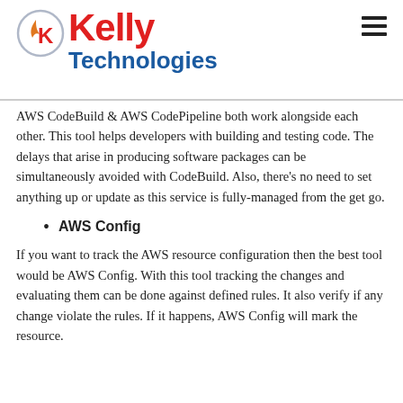Kelly Technologies
AWS CodeBuild & AWS CodePipeline both work alongside each other. This tool helps developers with building and testing code. The delays that arise in producing software packages can be simultaneously avoided with CodeBuild. Also, there's no need to set anything up or update as this service is fully-managed from the get go.
AWS Config
If you want to track the AWS resource configuration then the best tool would be AWS Config. With this tool tracking the changes and evaluating them can be done against defined rules. It also verify if any change violate the rules. If it happens, AWS Config will mark the resource.